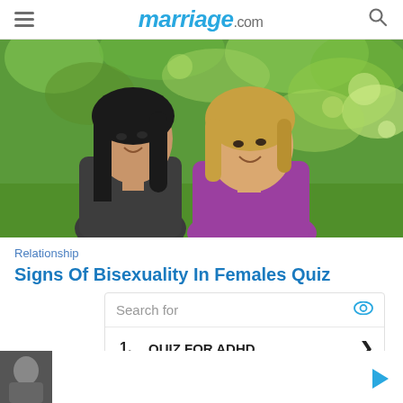marriage.com
[Figure (photo): Two women sitting outdoors in a park with green trees in the background. One has dark hair wearing a gray shirt, the other has blonde hair wearing a purple top, both smiling.]
Relationship
Signs Of Bisexuality In Females Quiz
Search for
1. QUIZ FOR ADHD
2. DO I HAVE DEPRESSION QUIZ